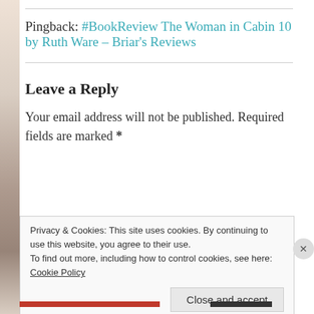Pingback: #BookReview The Woman in Cabin 10 by Ruth Ware – Briar's Reviews
Leave a Reply
Your email address will not be published. Required fields are marked *
Privacy & Cookies: This site uses cookies. By continuing to use this website, you agree to their use.
To find out more, including how to control cookies, see here:
Cookie Policy
Close and accept